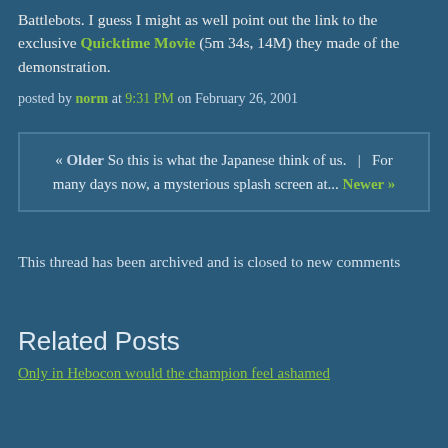Battlebots. I guess I might as well point out the link to the exclusive Quicktime Movie (5m 34s, 14M) they made of the demonstration.
posted by norm at 9:31 PM on February 26, 2001
« Older So this is what the Japanese think of us.  |  For many days now, a mysterious splash screen at... Newer »
This thread has been archived and is closed to new comments
Related Posts
Only in Hebocon would the champion feel ashamed